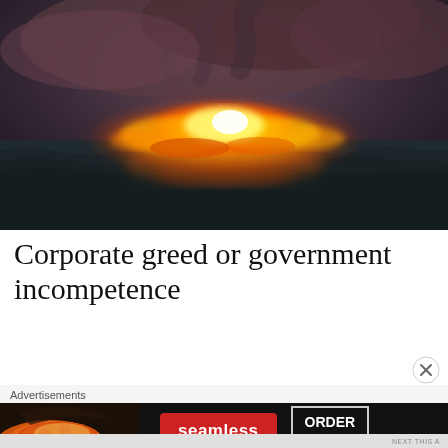[Figure (photo): Aerial or close-up view of fire burning on water surface, showing yellow and orange flames against a dark choppy ocean background with smoke in the sky]
Corporate greed or government incompetence
Advertisements
[Figure (other): Seamless food delivery advertisement banner showing pizza on left, red Seamless logo button in center, and ORDER NOW button on right, all on a dark background]